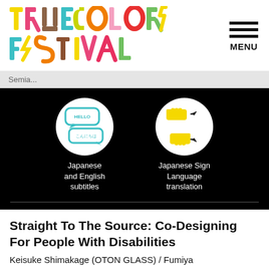[Figure (logo): True Colors Festival logo in multicolored block letters]
MENU
Senmi...
[Figure (illustration): Two circular icons on black background: left shows speech bubbles with HELLO and Japanese text (subtitles icon), right shows hands signing (Japanese Sign Language icon)]
Japanese and English subtitles
Japanese Sign Language translation
Straight To The Source: Co-Designing For People With Disabilities
Keisuke Shimakage (OTON GLASS) / Fumiya